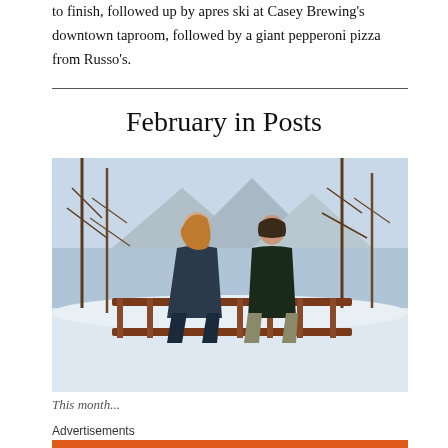to finish, followed up by apres ski at Casey Brewing's downtown taproom, followed by a giant pepperoni pizza from Russo's.
February in Posts
[Figure (photo): Two people standing on a wooden bridge in a snowy winter landscape with bare trees and mountains in the background. A woman with long hair on the left and a man on the right, both in dark winter clothing.]
This month...
Advertisements